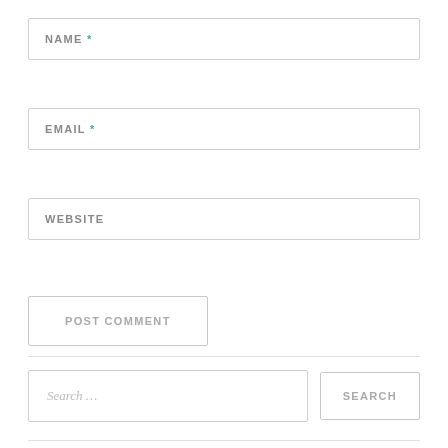NAME *
EMAIL *
WEBSITE
POST COMMENT
Search …
SEARCH